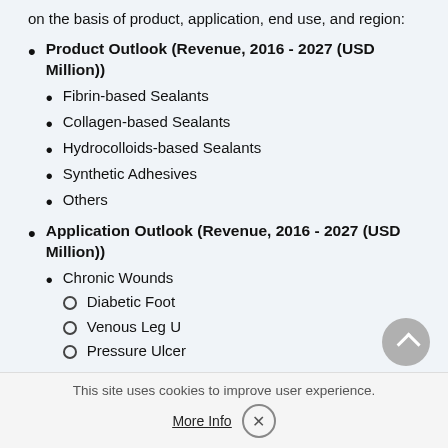on the basis of product, application, end use, and region:
Product Outlook (Revenue, 2016 - 2027 (USD Million))
Fibrin-based Sealants
Collagen-based Sealants
Hydrocolloids-based Sealants
Synthetic Adhesives
Others
Application Outlook (Revenue, 2016 - 2027 (USD Million))
Chronic Wounds
Diabetic Foot
Venous Leg U
Pressure Ulcer